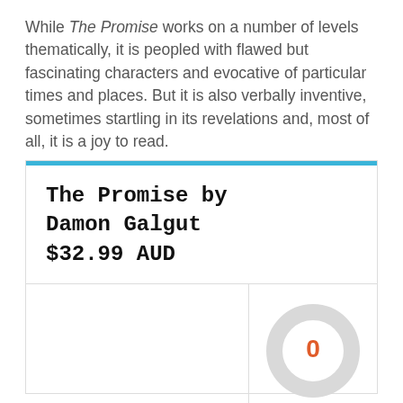While The Promise works on a number of levels thematically, it is peopled with flawed but fascinating characters and evocative of particular times and places. But it is also verbally inventive, sometimes startling in its revelations and, most of all, it is a joy to read.
The Promise by Damon Galgut $32.99 AUD
[Figure (donut-chart): Donut chart showing the value 0, rendered as a grey ring with '0' in orange text in the center]